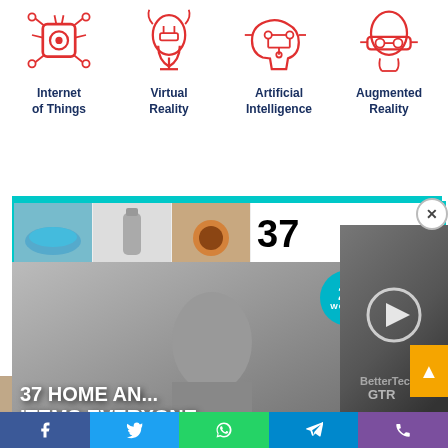[Figure (illustration): Four technology icons in red outline style: Internet of Things (robot/AI face in network), Virtual Reality (person with VR headset), Artificial Intelligence (brain with circuit), Augmented Reality (person with AR glasses). Labels below each icon in dark blue bold text.]
Internet of Things
Virtual Reality
Artificial Intelligence
Augmented Reality
[Figure (screenshot): Advertisement overlay showing thumbnail images and number 37, with text '37 HOME AND ... ITEMS EVERYONE SHOULD OWN' in white bold uppercase on dark background, badge showing 22 WORDS, video overlay with play button, CLOSE button, X close button, and orange up-arrow button.]
[Figure (screenshot): Bottom strip showing partial thumbnail images of faces/people.]
[Figure (infographic): Social media sharing bar with Facebook, Twitter, WhatsApp, Telegram, and phone icons on colored backgrounds (blue, light blue, green, blue, purple).]